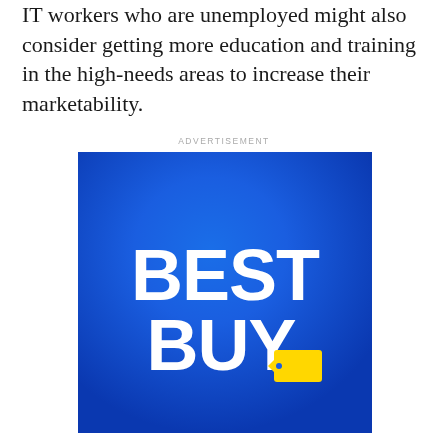IT workers who are unemployed might also consider getting more education and training in the high-needs areas to increase their marketability.
ADVERTISEMENT
[Figure (logo): Best Buy logo on a blue gradient background. White bold text reading BEST BUY with a yellow price tag icon to the right of BUY.]